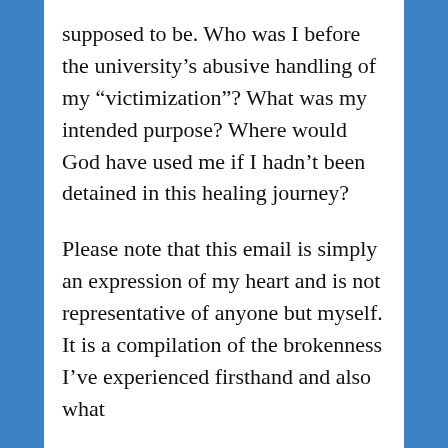supposed to be. Who was I before the university’s abusive handling of my “victimization”? What was my intended purpose? Where would God have used me if I hadn’t been detained in this healing journey?
Please note that this email is simply an expression of my heart and is not representative of anyone but myself. It is a compilation of the brokenness I’ve experienced firsthand and also what